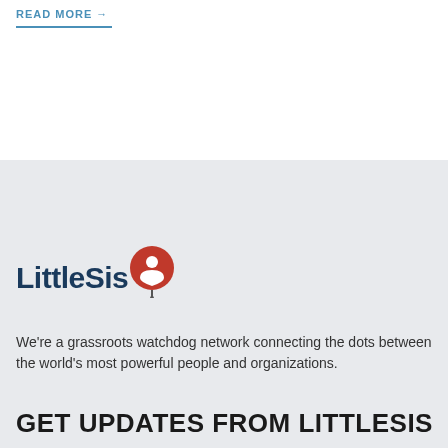READ MORE →
[Figure (logo): LittleSis logo with red map pin icon containing a person/star symbol]
We're a grassroots watchdog network connecting the dots between the world's most powerful people and organizations.
GET UPDATES FROM LITTLESIS